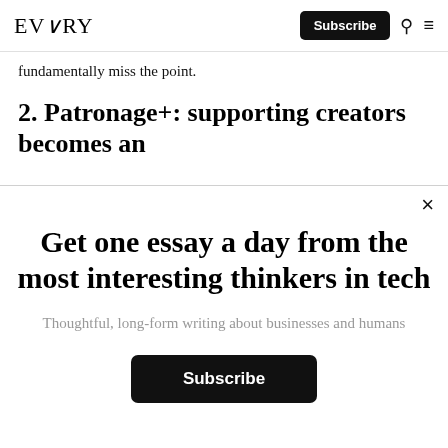EVERY | Subscribe
fundamentally miss the point.
2. Patronage+: supporting creators becomes an
×
Get one essay a day from the most interesting thinkers in tech
Thoughtful, long-form writing about businesses and humans
Subscribe